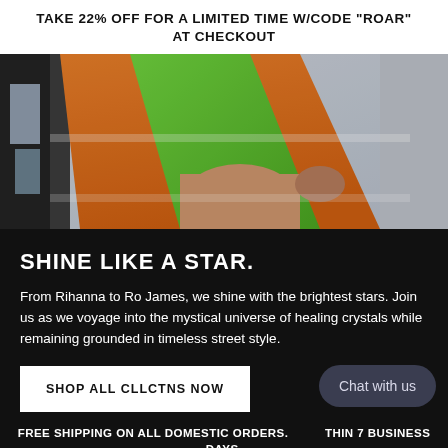TAKE 22% OFF FOR A LIMITED TIME W/CODE "ROAR" AT CHECKOUT
[Figure (photo): A person wearing an orange and green outfit reaching into what appears to be a refrigerator or freezer display case]
SHINE LIKE A STAR.
From Rihanna to Ro James, we shine with the brightest stars. Join us as we voyage into the mystical universe of healing crystals while remaining grounded in timeless street style.
SHOP ALL CLLCTNS NOW
Chat with us
FREE SHIPPING ON ALL DOMESTIC ORDERS. WITHIN 7 BUSINESS DAYS.